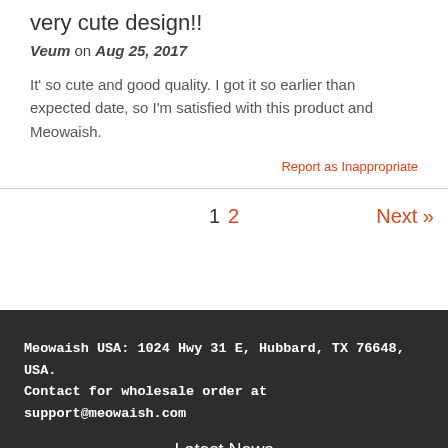very cute design!!
Veum on Aug 25, 2017
It' so cute and good quality. I got it so earlier than expected date, so I'm satisfied with this product and Meowaish.
Report as Inappropriate
1 2 Next »
Meowaish USA: 1024 Hwy 31 E, Hubbard, TX 76648, USA. Contact for wholesale order at support@meowaish.com
Latest News